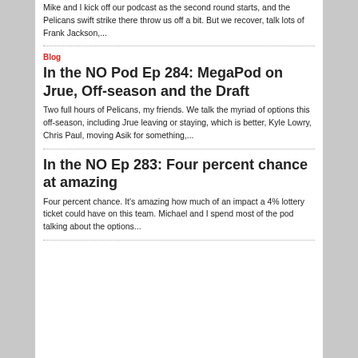Mike and I kick off our podcast as the second round starts, and the Pelicans swift strike there throw us off a bit. But we recover, talk lots of Frank Jackson,...
Blog
In the NO Pod Ep 284: MegaPod on Jrue, Off-season and the Draft
Two full hours of Pelicans, my friends. We talk the myriad of options this off-season, including Jrue leaving or staying, which is better, Kyle Lowry, Chris Paul, moving Asik for something,...
In the NO Ep 283: Four percent chance at amazing
Four percent chance. It's amazing how much of an impact a 4% lottery ticket could have on this team. Michael and I spend most of the pod talking about the options...